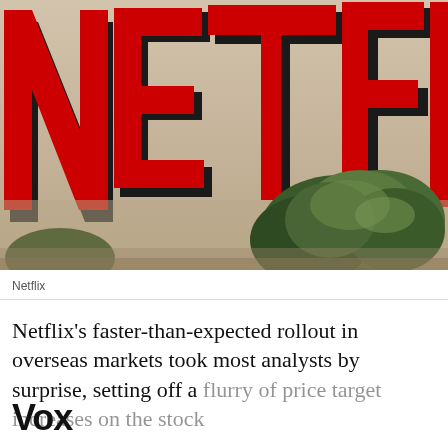[Figure (photo): Large red Netflix sign/logo mounted on a beige wall with green shrubbery below]
Netflix
Netflix's faster-than-expected rollout in overseas markets took most analysts by surprise, setting off a flurry of price target increases on the stock
[Figure (logo): Vox media logo in bold black text]